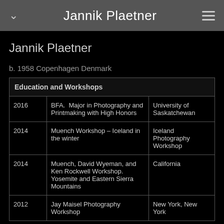Jannik Plaetner
Jannik Plaetner
b. 1958 Copenhagen Denmark
| Education and Workshops |  |  |
| --- | --- | --- |
| 2016 | BFA.  Major in Photography and Printmaking with High Honors | University of Saskatchewan |
| 2014 | Muench Workshop – Iceland in the winter | Iceland Photography Workshop |
| 2014 | Muench, David Wyeman, and Ken Rockwell Workshop.  Yosemite and Eastern Sierra Mountains | California |
| 2012 | Jay Maisel Photography Workshop | New York, New York |